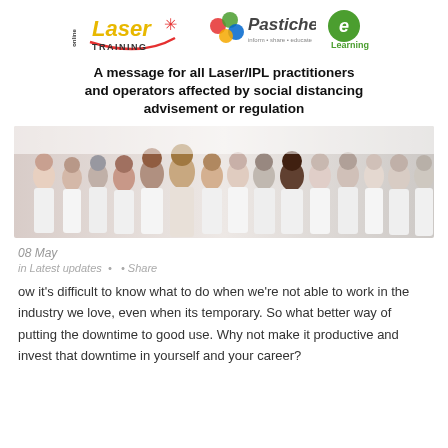[Figure (logo): Online Laser Training logo, Pastiche logo, and e-Learning logo side by side]
A message for all Laser/IPL practitioners and operators affected by social distancing advisement or regulation
[Figure (photo): Group of diverse women in white tops standing together smiling]
08 May
in Latest updates · · Share
ow it's difficult to know what to do when we're not able to work in the industry we love, even when its temporary. So what better way of putting the downtime to good use. Why not make it productive and invest that downtime in yourself and your career?